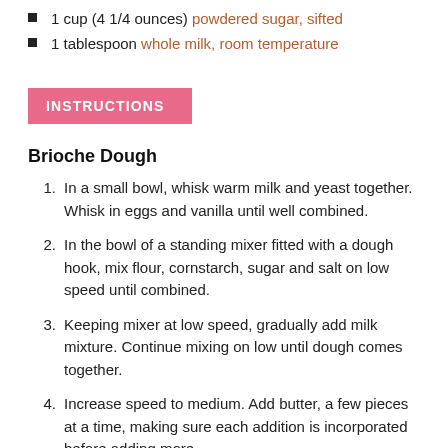1 cup (4 1/4 ounces) powdered sugar, sifted
1 tablespoon whole milk, room temperature
INSTRUCTIONS
Brioche Dough
1. In a small bowl, whisk warm milk and yeast together. Whisk in eggs and vanilla until well combined.
2. In the bowl of a standing mixer fitted with a dough hook, mix flour, cornstarch, sugar and salt on low speed until combined.
3. Keeping mixer at low speed, gradually add milk mixture. Continue mixing on low until dough comes together.
4. Increase speed to medium. Add butter, a few pieces at a time, making sure each addition is incorporated before adding more.
5. Continue mixing on medium speed until dough is